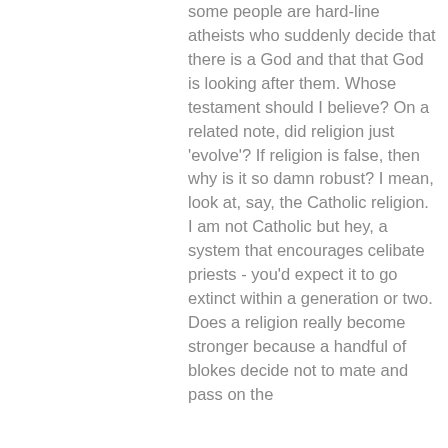some people are hard-line atheists who suddenly decide that there is a God and that that God is looking after them. Whose testament should I believe? On a related note, did religion just 'evolve'? If religion is false, then why is it so damn robust? I mean, look at, say, the Catholic religion. I am not Catholic but hey, a system that encourages celibate priests - you'd expect it to go extinct within a generation or two. Does a religion really become stronger because a handful of blokes decide not to mate and pass on the